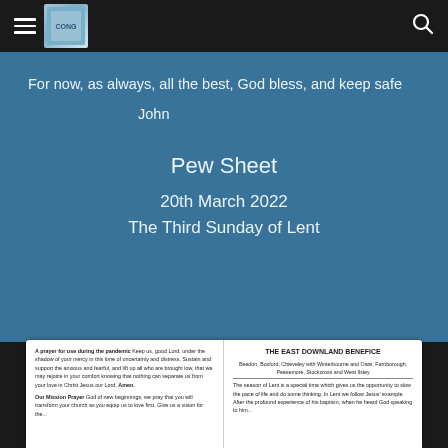Navigation bar with hamburger menu, logo, and search icon
For now, as always, all the best, God bless, and keep safe
John
Pew Sheet
20th March 2022
The Third Sunday of Lent
[Figure (screenshot): Preview of a pew sheet document showing a pandemic prayer on the left and The East Downland Benefice information on the right, including church names and a Lent season message.]